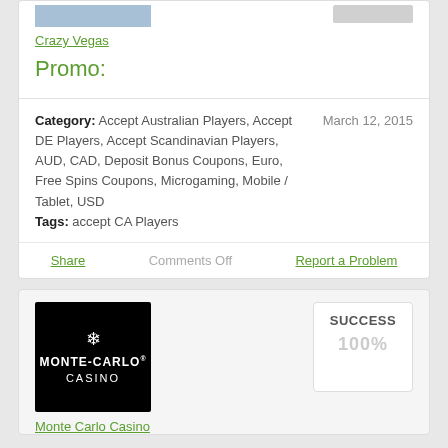[Figure (photo): Crazy Vegas casino logo image placeholder, blue/gray color]
Crazy Vegas
Promo:
Category: Accept Australian Players, Accept DE Players, Accept Scandinavian Players, AUD, CAD, Deposit Bonus Coupons, Euro, Free Spins Coupons, Microgaming, Mobile / Tablet, USD
March 12, 2015
Tags: accept CA Players
Share
Comments Off
Report a Problem
[Figure (logo): Monte Carlo Casino logo — black background with white snowflake/star icon, text MONTE-CARLO CASINO]
SUCCESS
100%
Monte Carlo Casino